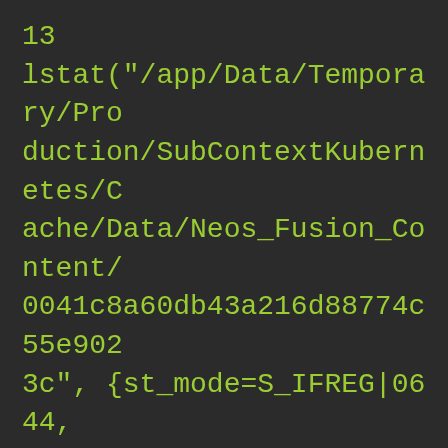13
lstat("/app/Data/Temporary/Production/SubContextKubernetes/Cache/Data/Neos_Fusion_Content/0041c8a60db43a216d88774c55e9023c", {st_mode=S_IFREG|0644, st_size=239, ...}) = 0
14
open("/app/Data/Temporary/Production/SubContextKubernetes/Cache/Data/Neos_Fusion_Content/0041c8a60db43a216d88774c55e9023c", O_RDONLY) = 10
15 fstat(10, {st_mode=S_IFREG|0644, st_size=239, ...}) = 0